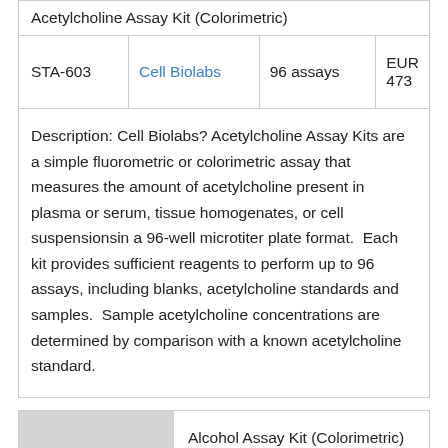|  |  |  |  |
| --- | --- | --- | --- |
| Acetylcholine Assay Kit (Colorimetric) |  |  |  |
| STA-603 | Cell Biolabs | 96 assays | EUR 473 |
| Description: Cell Biolabs? Acetylcholine Assay Kits are a simple fluorometric or colorimetric assay that measures the amount of acetylcholine present in plasma or serum, tissue homogenates, or cell suspensionsin a 96-well microtiter plate format.  Each kit provides sufficient reagents to perform up to 96 assays, including blanks, acetylcholine standards and samples.  Sample acetylcholine concentrations are determined by comparison with a known acetylcholine standard. |  |  |  |
|  |  |
| --- | --- |
|  | Alcohol Assay Kit (Colorimetric) |